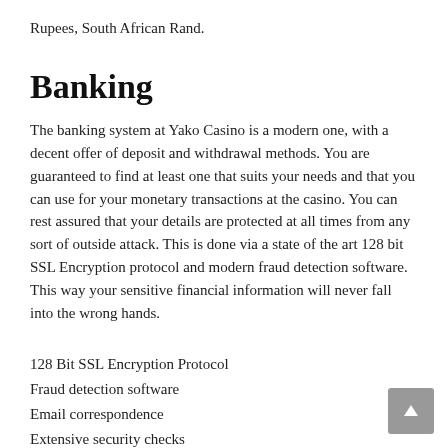Rupees, South African Rand.
Banking
The banking system at Yako Casino is a modern one, with a decent offer of deposit and withdrawal methods. You are guaranteed to find at least one that suits your needs and that you can use for your monetary transactions at the casino. You can rest assured that your details are protected at all times from any sort of outside attack. This is done via a state of the art 128 bit SSL Encryption protocol and modern fraud detection software. This way your sensitive financial information will never fall into the wrong hands.
128 Bit SSL Encryption Protocol
Fraud detection software
Email correspondence
Extensive security checks